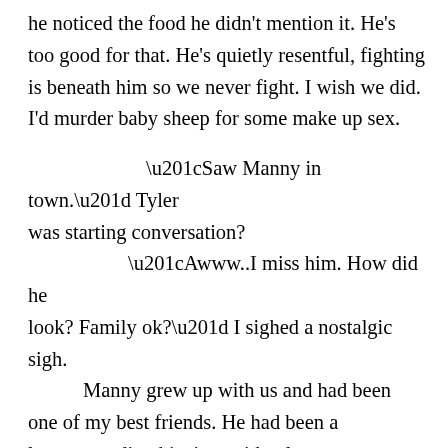he noticed the food he didn't mention it. He's too good for that. He's quietly resentful, fighting is beneath him so we never fight.   I wish we did.  I'd murder baby sheep for some make up sex.

“Saw Manny in town.” Tyler was starting conversation?
“Awww..I miss him.  How did he look?  Family ok?”  I sighed a nostalgic sigh.
    Manny grew up with us and had been one of my best friends.   He had been a loner, spending his time with telescopes and teachers and was teased a lot as a kid. I'd been in University with him and he'd